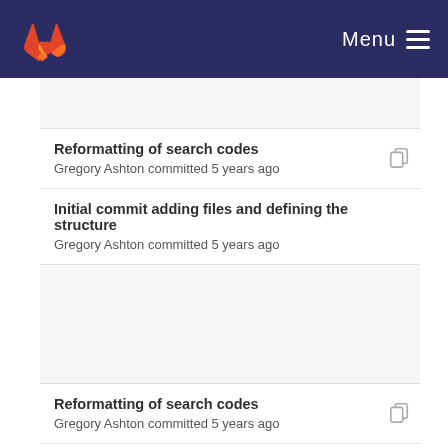GitLab — Menu
Reformatting of search codes
Gregory Ashton committed 5 years ago
Initial commit adding files and defining the structure
Gregory Ashton committed 5 years ago
Reformatting of search codes
Gregory Ashton committed 5 years ago
Initial commit adding files and defining the structure
Gregory Ashton committed 5 years ago